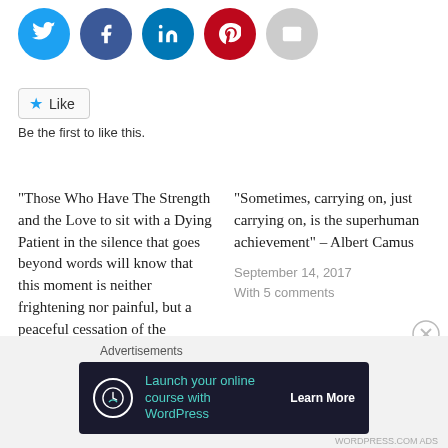[Figure (other): Row of social share icon circles: Twitter (blue), Facebook (dark blue), LinkedIn (blue), Pinterest (red), Email (gray)]
[Figure (other): Like button with star icon and text 'Like', followed by 'Be the first to like this.']
"Those Who Have The Strength and the Love to sit with a Dying Patient in the silence that goes beyond words will know that this moment is neither frightening nor painful, but a peaceful cessation of the functioning of the body." – Elisabeth Kubler-Ross
May 6, 2018
With 2 comments
"Sometimes, carrying on, just carrying on, is the superhuman achievement" – Albert Camus
September 14, 2017
With 5 comments
[Figure (other): Advertisement banner: 'Launch your online course with WordPress' with Learn More button on dark background]